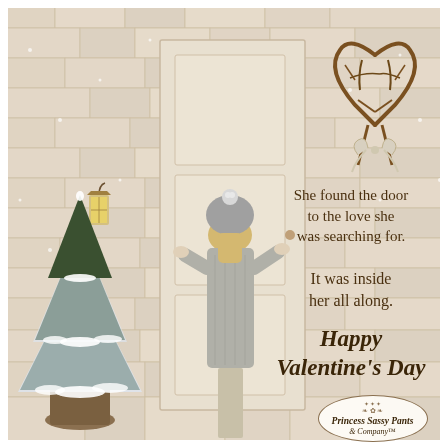[Figure (illustration): A whimsical illustration of a girl in a grey knit sweater and beanie hat, viewed from the back, standing at a rustic white wooden door of a stone/brick wall house. A snow-covered Christmas tree in an urn planter is to her left. A vintage lantern hangs on the left side. A heart-shaped twig wreath with a bow hangs on the upper right of the stone wall. Artist watermark reads @JaneLeeLogan.]
She found the door to the love she was searching for. It was inside her all along.
Happy Valentine's Day
[Figure (logo): Princess Sassy Pants & Company logo in an oval border]